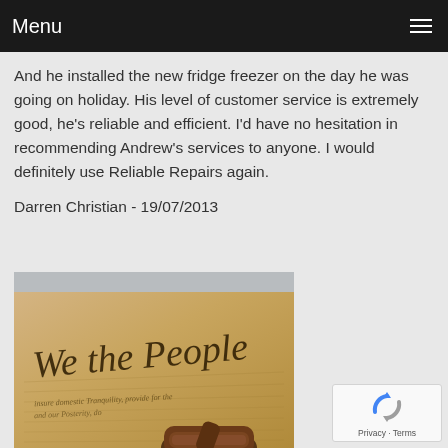Menu
And he installed the new fridge freezer on the day he was going on holiday. His level of customer service is extremely good, he's reliable and efficient. I'd have no hesitation in recommending Andrew's services to anyone. I would definitely use Reliable Repairs again.
Darren Christian - 19/07/2013
[Figure (photo): Photograph of a handwritten 'We the People' document (resembling the US Constitution) with a wooden gavel resting on it.]
[Figure (logo): reCAPTCHA badge with spinning arrow icon and Privacy - Terms links.]